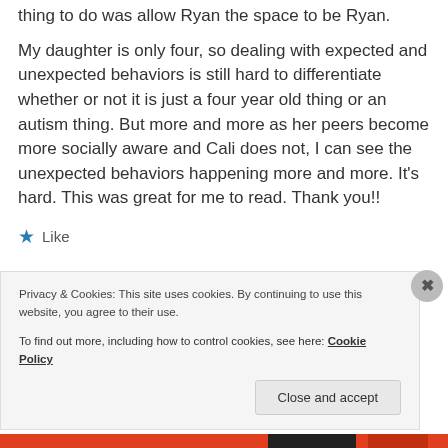thing to do was allow Ryan the space to be Ryan.
My daughter is only four, so dealing with expected and unexpected behaviors is still hard to differentiate whether or not it is just a four year old thing or an autism thing. But more and more as her peers become more socially aware and Cali does not, I can see the unexpected behaviors happening more and more. It’s hard. This was great for me to read. Thank you!!
★ Like
Privacy & Cookies: This site uses cookies. By continuing to use this website, you agree to their use.
To find out more, including how to control cookies, see here: Cookie Policy
Close and accept